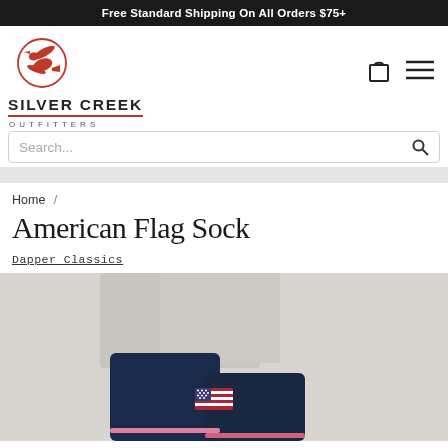Free Standard Shipping On All Orders $75+
[Figure (logo): Silver Creek Outfitters logo with orange bird in circle and brand name text]
Search...
Home /
American Flag Sock
Dapper Classics
[Figure (photo): Person wearing navy blue American Flag socks with small US flag patch, pants rolled up slightly, standing]